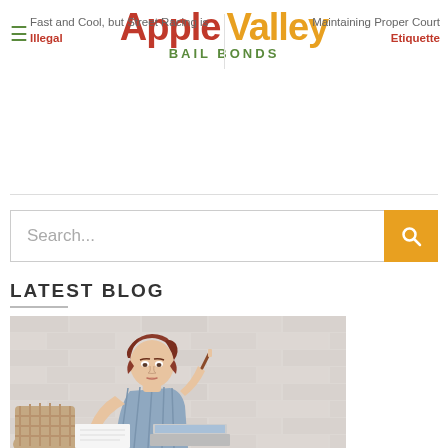Apple Valley Bail Bonds
Fast and Cool, but Street Racing is Illegal
Maintaining Proper Court Etiquette
[Figure (screenshot): Search bar with orange search button]
LATEST BLOG
[Figure (photo): Young woman with red hair holding paper and pen, sitting at desk with laptop against white brick wall background]